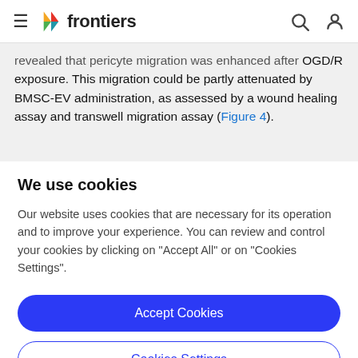frontiers
revealed that pericyte migration was enhanced after OGD/R exposure. This migration could be partly attenuated by BMSC-EV administration, as assessed by a wound healing assay and transwell migration assay (Figure 4).
We use cookies
Our website uses cookies that are necessary for its operation and to improve your experience. You can review and control your cookies by clicking on "Accept All" or on "Cookies Settings".
Accept Cookies
Cookies Settings